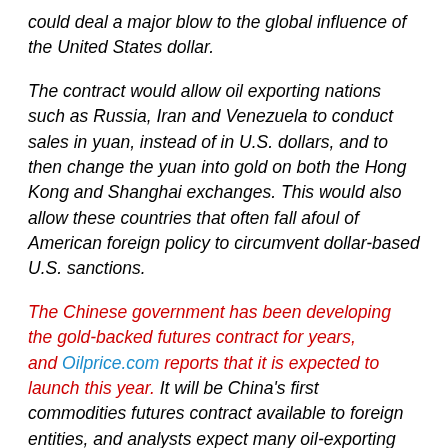could deal a major blow to the global influence of the United States dollar.
The contract would allow oil exporting nations such as Russia, Iran and Venezuela to conduct sales in yuan, instead of in U.S. dollars, and to then change the yuan into gold on both the Hong Kong and Shanghai exchanges. This would also allow these countries that often fall afoul of American foreign policy to circumvent dollar-based U.S. sanctions.
The Chinese government has been developing the gold-backed futures contract for years, and Oilprice.com reports that it is expected to launch this year. It will be China's first commodities futures contract available to foreign entities, and analysts expect many oil-exporting nations and firms to find it appealing. Continue